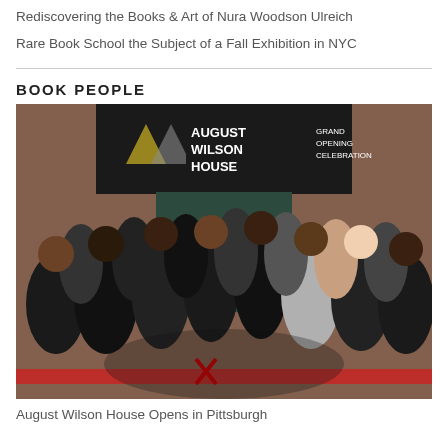Rediscovering the Books & Art of Nura Woodson Ulreich
Rare Book School the Subject of a Fall Exhibition in NYC
BOOK PEOPLE
[Figure (photo): Group of people gathered in front of August Wilson House Grand Opening Celebration sign, cutting a red ribbon, outdoor ceremony at a brick building.]
August Wilson House Opens in Pittsburgh